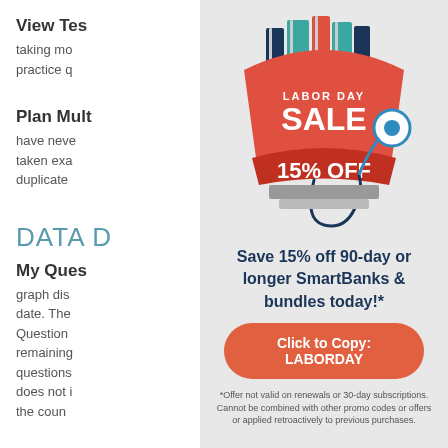View Tes
taking mo practice q
Plan Mult
have neve taken exa duplicate
DATA D
My Ques
graph disp date. The Question remaining questions does not i the coun
[Figure (illustration): Labor Day Sale promotional banner with books and stethoscope illustration. Red/orange banner reads LABOR DAY SALE 15% OFF]
Save 15% off 90-day or longer SmartBanks & bundles today!*
Click to Copy: LABORDAY
*Offer not valid on renewals or 30-day subscriptions. Cannot be combined with other promo codes or offers or applied retroactively to previous purchases.